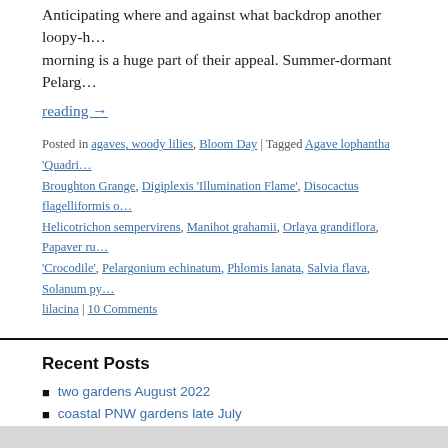Anticipating where and against what backdrop another loopy-h… morning is a huge part of their appeal. Summer-dormant Pelarg…
reading →
Posted in agaves, woody lilies, Bloom Day | Tagged Agave lophantha 'Quadri… Broughton Grange, Digiplexis 'Illumination Flame', Disocactus flagelliformis o… Helicotrichon sempervirens, Manihot grahamii, Orlaya grandiflora, Papaver ru… 'Crocodile', Pelargonium echinatum, Phlomis lanata, Salvia flava, Solanum py… lilacina | 10 Comments
Recent Posts
two gardens August 2022
coastal PNW gardens late July
the curvilinear Courtney garden, Banks, Oregon
the summer I planted pale yellow snapdragons
bloom day 7/22; dierama drama
A Growing Obsession